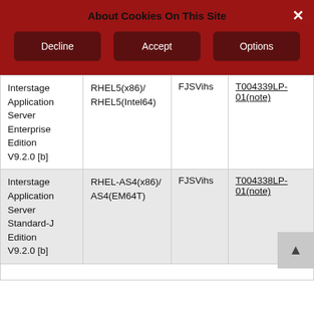About Cookies On This Site
Decline | Accept | Options
| Product | OS | Package | Media |
| --- | --- | --- | --- |
| Interstage Application Server Enterprise Edition V9.2.0 [b] | RHEL5(x86)/RHEL5(Intel64) | FJSVihs | T004339LP-01(note) |
| Interstage Application Server Standard-J Edition V9.2.0 [b] | RHEL-AS4(x86)/AS4(EM64T) | FJSVihs | T004338LP-01(note) |